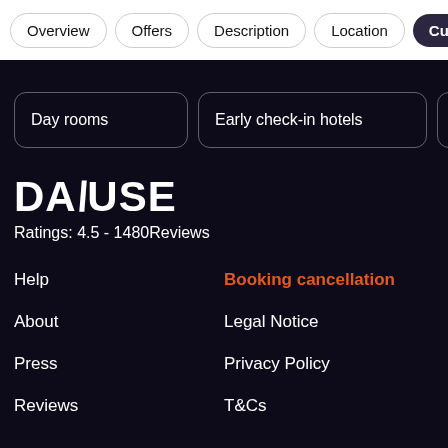Overview | Offers | Description | Location | Customer
Day rooms
Early check-in hotels
Late check-o
DAYUSE
Ratings: 4.5 - 1480Reviews
Help
Booking cancellation
About
Legal Notice
Press
Privacy Policy
Reviews
T&Cs